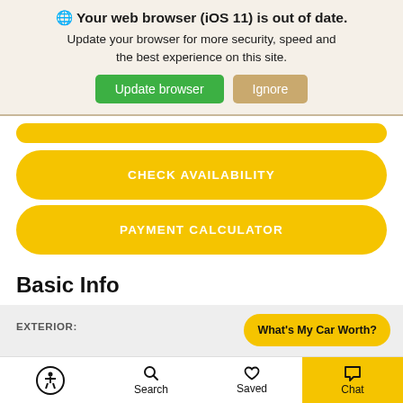🌐 Your web browser (iOS 11) is out of date. Update your browser for more security, speed and the best experience on this site. Update browser | Ignore
[Figure (screenshot): Yellow pill button labeled CHECK AVAILABILITY]
[Figure (screenshot): Yellow pill button labeled PAYMENT CALCULATOR]
Basic Info
EXTERIOR:
What's My Car Worth?
Accessibility Search Saved Chat